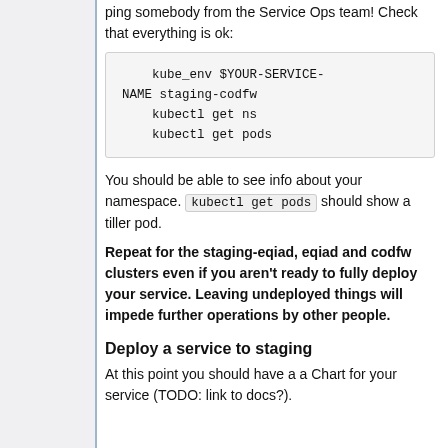ping somebody from the Service Ops team! Check that everything is ok:
kube_env $YOUR-SERVICE-NAME staging-codfw
    kubectl get ns
    kubectl get pods
You should be able to see info about your namespace. kubectl get pods should show a tiller pod.
Repeat for the staging-eqiad, eqiad and codfw clusters even if you aren't ready to fully deploy your service. Leaving undeployed things will impede further operations by other people.
Deploy a service to staging
At this point you should have a a Chart for your service (TODO: link to docs?).